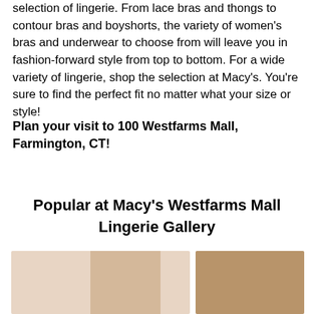selection of lingerie. From lace bras and thongs to contour bras and boyshorts, the variety of women's bras and underwear to choose from will leave you in fashion-forward style from top to bottom. For a wide variety of lingerie, shop the selection at Macy's. You're sure to find the perfect fit no matter what your size or style!
Plan your visit to 100 Westfarms Mall, Farmington, CT!
Popular at Macy's Westfarms Mall Lingerie Gallery
[Figure (photo): Two lingerie product photos side by side at the bottom of the page, showing women's underwear/shapewear on models]